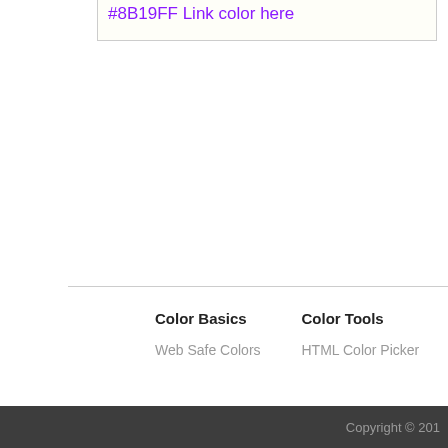#8B19FF Link color here
Color Basics
Web Safe Colors
Color Tools
HTML Color Picker
Copyright © 201…